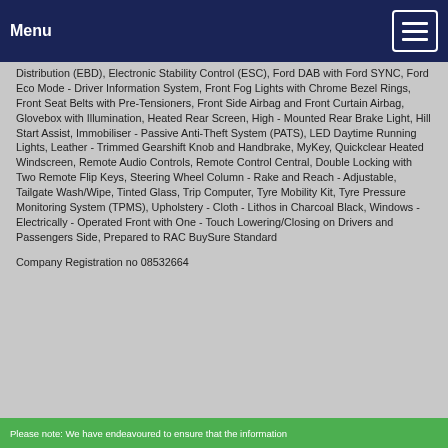Menu
Distribution (EBD), Electronic Stability Control (ESC), Ford DAB with Ford SYNC, Ford Eco Mode - Driver Information System, Front Fog Lights with Chrome Bezel Rings, Front Seat Belts with Pre-Tensioners, Front Side Airbag and Front Curtain Airbag, Glovebox with Illumination, Heated Rear Screen, High - Mounted Rear Brake Light, Hill Start Assist, Immobiliser - Passive Anti-Theft System (PATS), LED Daytime Running Lights, Leather - Trimmed Gearshift Knob and Handbrake, MyKey, Quickclear Heated Windscreen, Remote Audio Controls, Remote Control Central, Double Locking with Two Remote Flip Keys, Steering Wheel Column - Rake and Reach - Adjustable, Tailgate Wash/Wipe, Tinted Glass, Trip Computer, Tyre Mobility Kit, Tyre Pressure Monitoring System (TPMS), Upholstery - Cloth - Lithos in Charcoal Black, Windows - Electrically - Operated Front with One - Touch Lowering/Closing on Drivers and Passengers Side, Prepared to RAC BuySure Standard
Company Registration no 08532664
Please note: We have endeavoured to ensure that the information